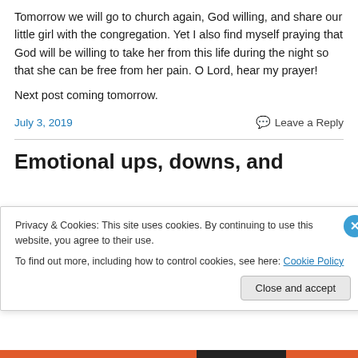Tomorrow we will go to church again, God willing, and share our little girl with the congregation. Yet I also find myself praying that God will be willing to take her from this life during the night so that she can be free from her pain. O Lord, hear my prayer!
Next post coming tomorrow.
July 3, 2019     Leave a Reply
Emotional ups, downs, and
Privacy & Cookies: This site uses cookies. By continuing to use this website, you agree to their use.
To find out more, including how to control cookies, see here: Cookie Policy
Close and accept